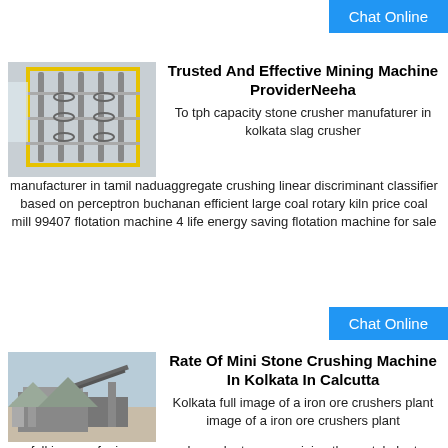Chat Online
Trusted And Effective Mining Machine ProviderNeeha
[Figure (photo): Industrial mining equipment, spiral conveyors or screw classifiers in a warehouse setting with yellow framework]
To tph capacity stone crusher manufaturer in kolkata slag crusher manufacturer in tamil naduaggregate crushing linear discriminant classifier based on perceptron buchanan efficient large coal rotary kiln price coal mill 99407 flotation machine 4 life energy saving flotation machine for sale
Chat Online
Rate Of Mini Stone Crushing Machine In Kolkata In Calcutta
[Figure (photo): Outdoor mobile stone crushing plant with conveyor belts and machinery in a quarry/desert setting]
Kolkata full image of a iron ore crushers plant image of a iron ore crushers plant full image of a iron ore crushers plant samac mining the metal plant grinding mill mobile crusher are especially sui le for processing iron ore gold ore copper ore manganese ore etc with full hydraulic